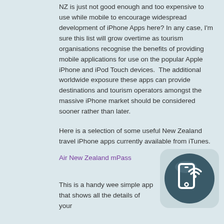NZ is just not good enough and too expensive to use while mobile to encourage widespread development of iPhone Apps here? In any case, I'm sure this list will grow overtime as tourism organisations recognise the benefits of providing mobile applications for use on the popular Apple iPhone and iPod Touch devices.  The additional worldwide exposure these apps can provide destinations and tourism operators amongst the massive iPhone market should be considered sooner rather than later.
Here is a selection of some useful New Zealand travel iPhone apps currently available from iTunes.
Air New Zealand mPass
[Figure (illustration): Air New Zealand mPass app icon showing a stylized phone/boarding pass symbol on a dark teal circular background]
This is a handy wee simple app that shows all the details of your